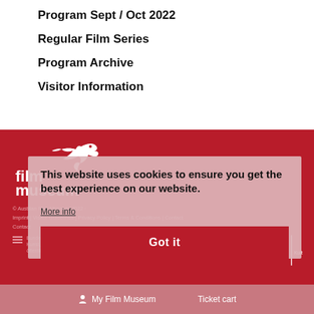Program Sept / Oct 2022
Regular Film Series
Program Archive
Visitor Information
[Figure (logo): Austrian Film Museum logo — white bird and text 'film museum' on red background]
© Austrian Film Museum 2022 ·
Imprint | Visitor Guidelines | Privacy Policy | Terms & Conditions | Contact
[Figure (logo): Bundesministerium logo with bars icon and text]
[Figure (logo): Stadt Wien Kultur logo]
This website uses cookies to ensure you get the best experience on our website.
More info
Got it
My Film Museum
Ticket cart